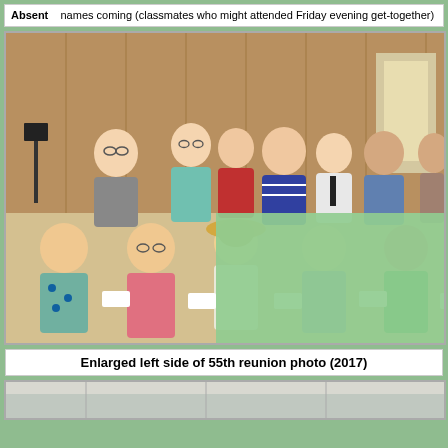Absent    names coming (classmates who might attended Friday evening get-together)
[Figure (photo): Enlarged left side of 55th reunion photo (2017) showing two rows of classmates seated and standing in a hall, with a green overlay on the lower right portion of the image.]
Enlarged left side of 55th reunion photo (2017)
[Figure (photo): Bottom partial photo strip, partially visible.]